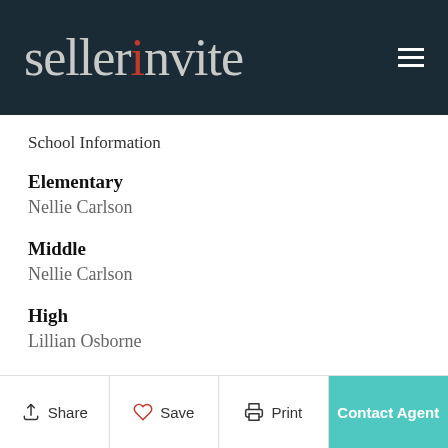[Figure (logo): sellerinvite logo — white/grey serif text on dark navy background, with red letter 'i']
School Information
Elementary
Nellie Carlson
Middle
Nellie Carlson
High
Lillian Osborne
Share   Save   Print   Contact Agent